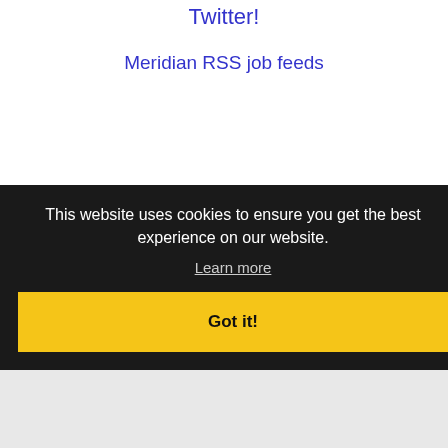Twitter!
Meridian RSS job feeds
JOB SEEKERS
Search Meridian jobs
Post your resume
Email job alerts
Register / Log in
EMPLOYERS
Post jobs
This website uses cookies to ensure you get the best experience on our website.
Learn more
Got it!